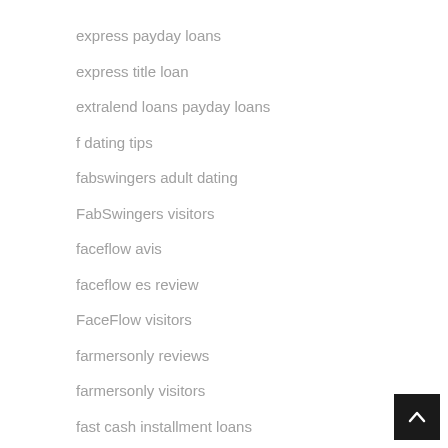express payday loans
express title loan
extralend loans payday loans
f dating tips
fabswingers adult dating
FabSwingers visitors
faceflow avis
faceflow es review
FaceFlow visitors
farmersonly reviews
farmersonly visitors
fast cash installment loans
fast cash payday loans